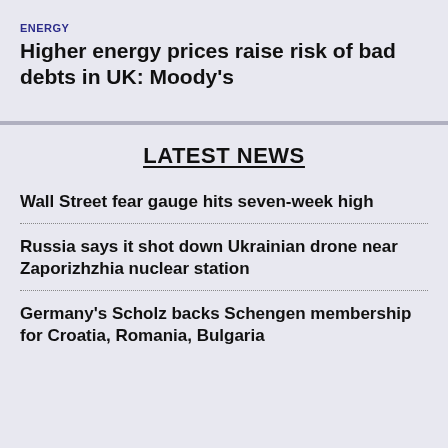ENERGY
Higher energy prices raise risk of bad debts in UK: Moody's
LATEST NEWS
Wall Street fear gauge hits seven-week high
Russia says it shot down Ukrainian drone near Zaporizhzhia nuclear station
Germany's Scholz backs Schengen membership for Croatia, Romania, Bulgaria